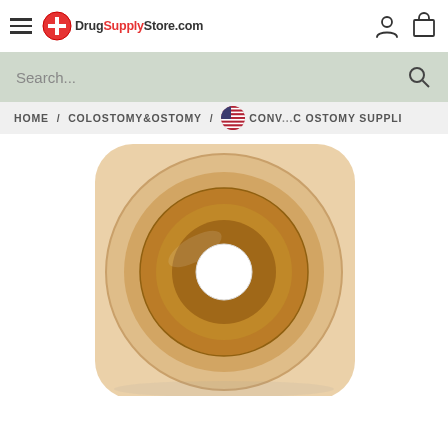DrugSupplyStore.com
Search...
HOME / COLOSTOMY&OSTOMY / CONVATEC OSTOMY SUPPLI
[Figure (photo): Ostomy barrier/wafer product - a square beige adhesive skin barrier with a circular convex flange, showing a tan/orange hydrocolloid ring with a central white opening, photographed from above on white background.]